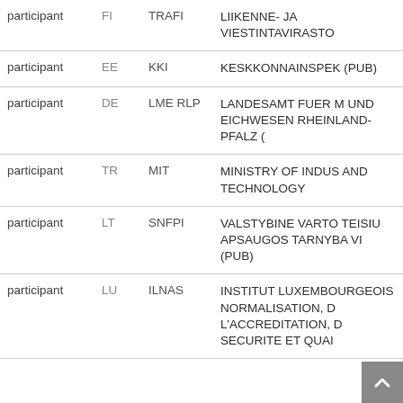| Role | Country | Abbreviation | Full Name |
| --- | --- | --- | --- |
| participant | FI | TRAFI | LIIKENNE- JA VIESTINTAVIRASTO |
| participant | EE | KKI | KESKKONNAINSPEK (PUB) |
| participant | DE | LME RLP | LANDESAMT FUER M UND EICHWESEN RHEINLAND-PFALZ ( |
| participant | TR | MIT | MINISTRY OF INDUS AND TECHNOLOGY |
| participant | LT | SNFPI | VALSTYBINE VARTO TEISIU APSAUGOS TARNYBA VI (PUB) |
| participant | LU | ILNAS | INSTITUT LUXEMBOURGEOIS NORMALISATION, D L'ACCREDITATION, D SECURITE ET QUAI |